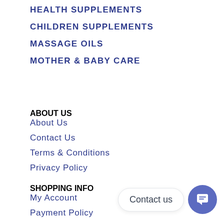HEALTH SUPPLEMENTS
CHILDREN SUPPLEMENTS
MASSAGE OILS
MOTHER & BABY CARE
ABOUT US
About Us
Contact Us
Terms & Conditions
Privacy Policy
SHOPPING INFO
My Account
Payment Policy
Shipping & Delivery Policy
[Figure (other): Contact us chat button with label and icon]